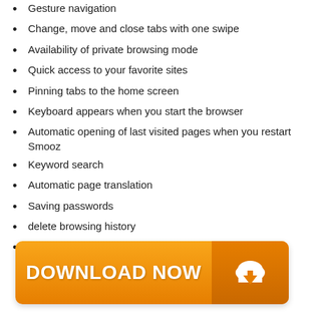Gesture navigation
Change, move and close tabs with one swipe
Availability of private browsing mode
Quick access to your favorite sites
Pinning tabs to the home screen
Keyboard appears when you start the browser
Automatic opening of last visited pages when you restart Smooz
Keyword search
Automatic page translation
Saving passwords
delete browsing history
Copy URLS from other device programs
[Figure (other): Orange download button with 'DOWNLOAD NOW' text and a cloud download icon on the right side]